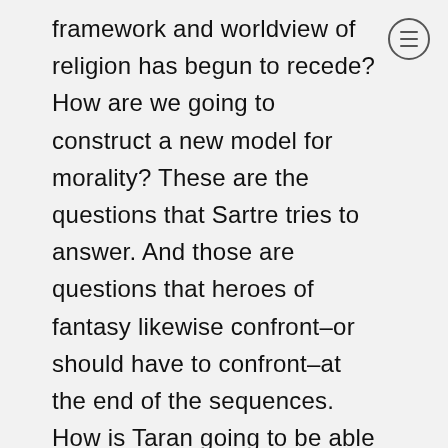framework and worldview of religion has begun to recede? How are we going to construct a new model for morality? These are the questions that Sartre tries to answer. And those are questions that heroes of fantasy likewise confront–or should have to confront–at the end of the sequences. How is Taran going to be able to rule Prydain and accomplish the tasks he's set out for himself? Without a clear embodiment of evil like Sauron and Voldemort–and thus a clear moral purpose in opposing them–how are we supposed to act? In ultimately shifting